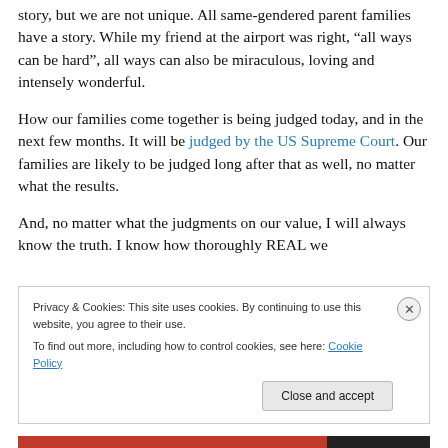story, but we are not unique.  All same-gendered parent families have a story.  While my friend at the airport was right, “all ways can be hard”, all ways can also be miraculous, loving and intensely wonderful.
How our families come together is being judged today, and in the next few months.  It will be judged by the US Supreme Court.  Our families are likely to be judged long after that as well, no matter what the results.
And, no matter what the judgments on our value, I will always know the truth.  I know how thoroughly REAL we
Privacy & Cookies: This site uses cookies. By continuing to use this website, you agree to their use.
To find out more, including how to control cookies, see here: Cookie Policy